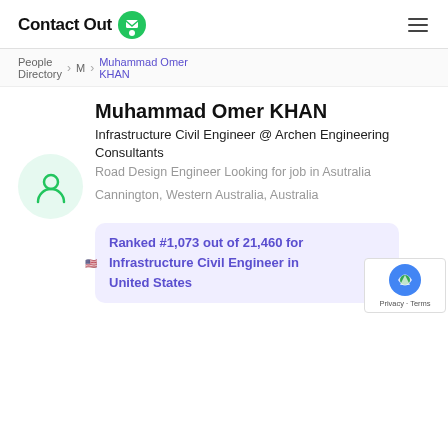ContactOut
People Directory > M > Muhammad Omer KHAN
Muhammad Omer KHAN
Infrastructure Civil Engineer @ Archen Engineering Consultants
Road Design Engineer Looking for job in Asutralia
Cannington, Western Australia, Australia
Ranked #1,073 out of 21,460 for Infrastructure Civil Engineer in United States